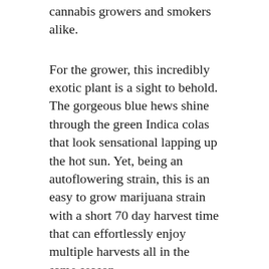cannabis growers and smokers alike.
For the grower, this incredibly exotic plant is a sight to behold. The gorgeous blue hews shine through the green Indica colas that look sensational lapping up the hot sun. Yet, being an autoflowering strain, this is an easy to grow marijuana strain with a short 70 day harvest time that can effortlessly enjoy multiple harvests all in the same season.
For the smoker, this plant is simply incredible. For anyone that likes a good strong cheese then this smoke will satisfy. A sour almost blueberry flavor really comes through while the resin coated buds make promises of the good times ahead.